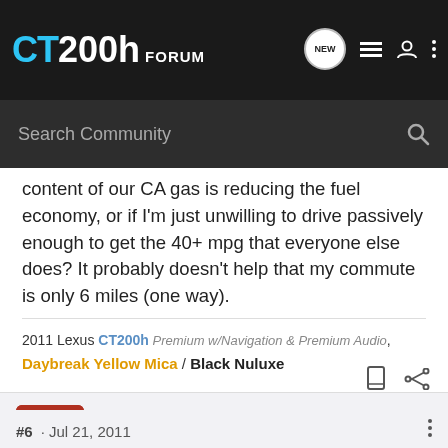CT200h FORUM
content of our CA gas is reducing the fuel economy, or if I'm just unwilling to drive passively enough to get the 40+ mpg that everyone else does? It probably doesn't help that my commute is only 6 miles (one way).
2011 Lexus CT200h Premium w/Navigation & Premium Audio, Daybreak Yellow Mica / Black Nuluxe
dkid · Registered
Joined Jul 26, 2010 · 255 Posts
#6 · Jul 21, 2011